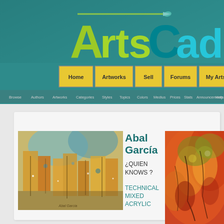[Figure (logo): ArtsCad website logo with paintbrush graphic. 'Arts' in yellow-green, 'Cad' in teal-blue on a teal background.]
Home | Artworks | Sell | Forums | My ArtsCad
Browse | Authors | Artworks | Categories | Styles | Topics | Colors | Medius | Prices | Stats | Announcements | Help
Abal García
¿QUIEN KNOWS ?
TECHNICAL MIXED ACRYLIC
[Figure (photo): Abstract painting with warm yellows, oranges, and blues suggesting a cityscape or forest scene.]
[Figure (photo): Abstract painting with reds, oranges, and yellows with flowing organic shapes suggesting figures in nature.]